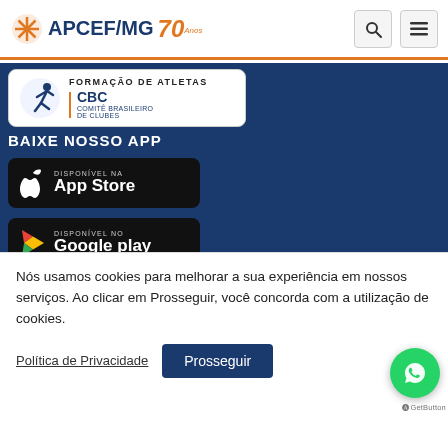[Figure (logo): APCEF/MG logo with 70 anos anniversary badge and navigation search/menu icons]
[Figure (illustration): CBC Comitê Brasileiro de Clubes - Formação de Atletas banner with runner icon]
BAIXE NOSSO APP
[Figure (illustration): App Store download button - Disponível na App Store]
[Figure (illustration): Google Play download button - Disponível no Google Play]
Nós usamos cookies para melhorar a sua experiência em nossos serviços. Ao clicar em Prosseguir, você concorda com a utilização de cookies.
Política de Privacidade
Prosseguir